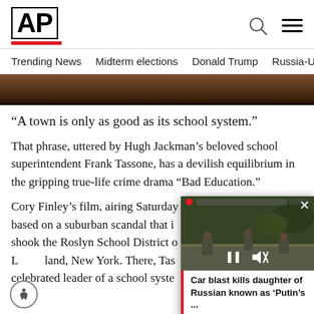AP
Trending News  Midterm elections  Donald Trump  Russia-Ukr
[Figure (photo): Dark close-up photo, partially visible at top of article]
“A town is only as good as its school system.”
That phrase, uttered by Hugh Jackman’s beloved school superintendent Frank Tassone, has a devilish equilibrium in the gripping true-life crime drama “Bad Education.”
Cory Finley’s film, airing Saturday based on a suburban scandal that shook the Roslyn School District o Long Island, New York. There, Tas celebrated leader of a school syste
[Figure (screenshot): Floating video overlay showing soldiers/military figures with caption: Car blast kills daughter of Russian known as ‘Putin’s ...’]